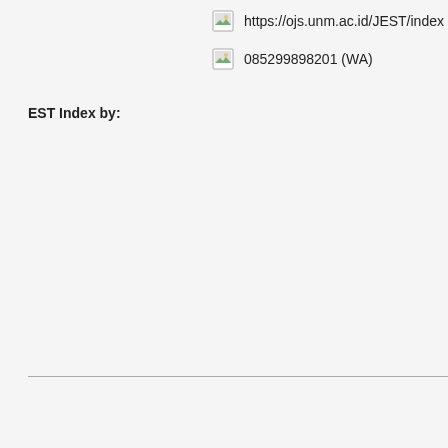https://ojs.unm.ac.id/JEST/index
085299898201 (WA)
EST Index by: